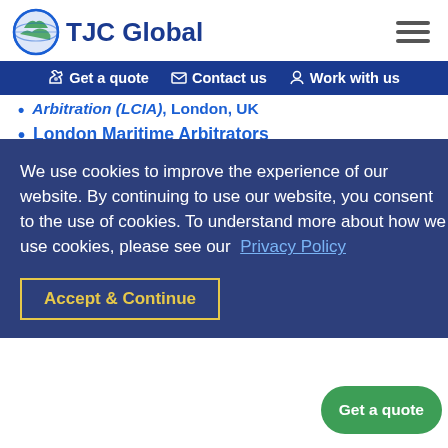TJC Global
Get a quote | Contact us | Work with us
Arbitration (LCIA), London, UK
London Maritime Arbitrators Association (LMAA), London, UK
Singapore International Arbitration
Chamber of Commerce
Swiss Chambers Arbitration Institution,
Korean Commercial Arbitration Board (KCAB), Seoul, South Korea; Busan, South Korea
United Nations Commission on International Trade Law (UNCITRAL),
We use cookies to improve the experience of our website. By continuing to use our website, you consent to the use of cookies. To understand more about how we use cookies, please see our Privacy Policy
Accept & Continue
Get a quote